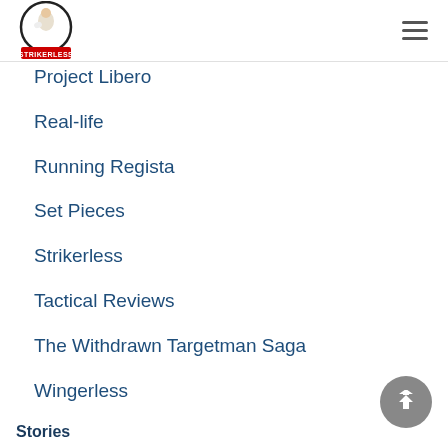Strikerless
Project Libero
Real-life
Running Regista
Set Pieces
Strikerless
Tactical Reviews
The Withdrawn Targetman Saga
Wingerless
Stories
Masters From The Sea
Reigning Regi...